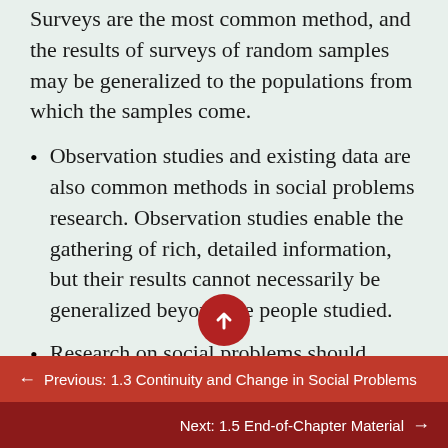Surveys are the most common method, and the results of surveys of random samples may be generalized to the populations from which the samples come.
Observation studies and existing data are also common methods in social problems research. Observation studies enable the gathering of rich, detailed information, but their results cannot necessarily be generalized beyond the people studied.
Research on social problems should follow the scientific method to yield the most accurate and objective conclusions possible.
← Previous: 1.3 Continuity and Change in Social Problems
Next: 1.5 End-of-Chapter Material →